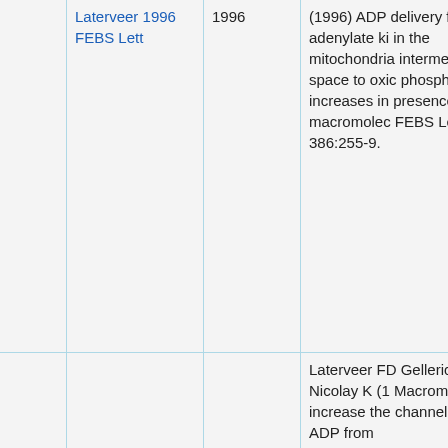|  | Reference | Year | Description |
| --- | --- | --- | --- |
|  | Laterveer 1996 FEBS Lett | 1996 | (1996) ADP delivery from adenylate kin in the mitochondria intermembra space to oxic phosphoryla increases in presence of macromolec FEBS Lett 386:255-9. |
|  | Laterveer 1995 Eur J | 1995 | Laterveer FD Gellerich FN Nicolay K (1 Macromolec increase the channelling c ADP from |